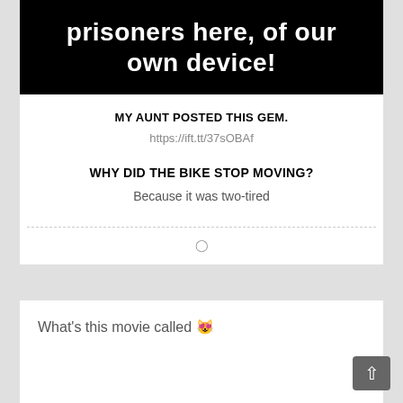[Figure (photo): Black background image with white bold text reading 'prisoners here, of our own device!']
MY AUNT POSTED THIS GEM.
https://ift.tt/37sOBAf
WHY DID THE BIKE STOP MOVING?
Because it was two-tired
What's this movie called 😸